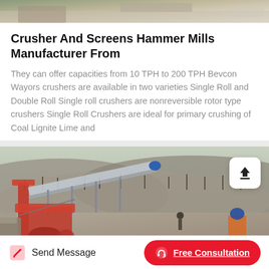[Figure (photo): Top portion of a photo showing a crusher/screening machine, partially visible at the top of the page.]
Crusher And Screens Hammer Mills Manufacturer From
They can offer capacities from 10 TPH to 200 TPH Bevcon Wayors crushers are available in two varieties Single Roll and Double Roll Single roll crushers are nonreversible rotor type crushers Single Roll Crushers are ideal for primary crushing of Coal Lignite Lime and
[Figure (photo): Photo of a large industrial crusher/screening machine on-site with conveyor belts and machinery, with hills and sparse trees in the background.]